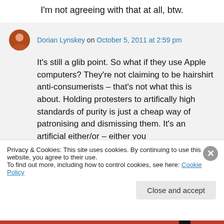I'm not agreeing with that at all, btw.
Dorian Lynskey on October 5, 2011 at 2:59 pm
It's still a glib point. So what if they use Apple computers? They're not claiming to be hairshirt anti-consumerists – that's not what this is about. Holding protesters to artifically high standards of purity is just a cheap way of patronising and dismissing them. It's an artificial either/or – either you
Privacy & Cookies: This site uses cookies. By continuing to use this website, you agree to their use.
To find out more, including how to control cookies, see here: Cookie Policy